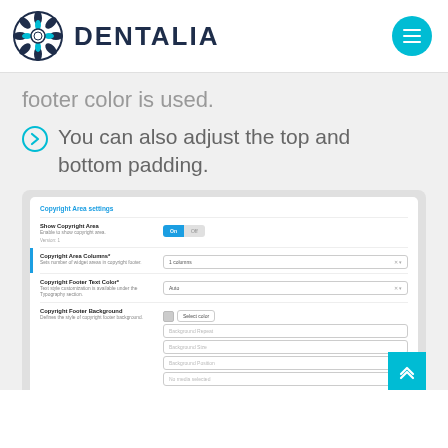[Figure (logo): Dentalia logo with flower/snowflake icon and DENTALIA text in dark navy, plus teal hamburger menu button on the right]
footer color is used.
You can also adjust the top and bottom padding.
[Figure (screenshot): Screenshot of Copyright Area settings panel showing Show Copyright Area toggle (On/Off), Copyright Area Columns dropdown (1 columns), Copyright Footer Text Color dropdown (Auto), Copyright Footer Background with color picker and fields for Background Repeat, Background Size, Background Position, No media selected]